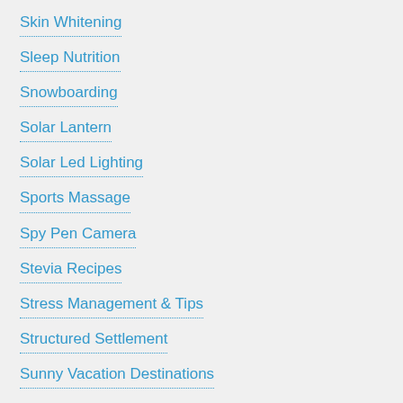Skin Whitening
Sleep Nutrition
Snowboarding
Solar Lantern
Solar Led Lighting
Sports Massage
Spy Pen Camera
Stevia Recipes
Stress Management & Tips
Structured Settlement
Sunny Vacation Destinations
Surf
Survival
Tablet Phone
Tablet Reviews